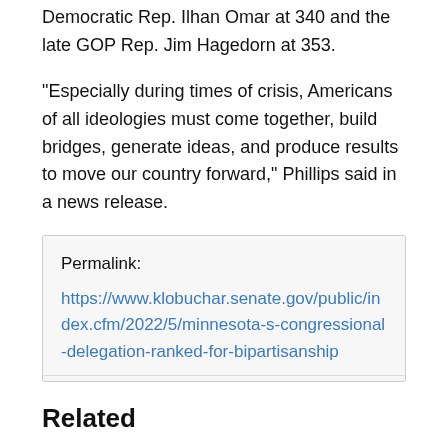Democratic Rep. Ilhan Omar at 340 and the late GOP Rep. Jim Hagedorn at 353.
"Especially during times of crisis, Americans of all ideologies must come together, build bridges, generate ideas, and produce results to move our country forward," Phillips said in a news release.
Permalink:
https://www.klobuchar.senate.gov/public/index.cfm/2022/5/minnesota-s-congressional-delegation-ranked-for-bipartisanship
Related